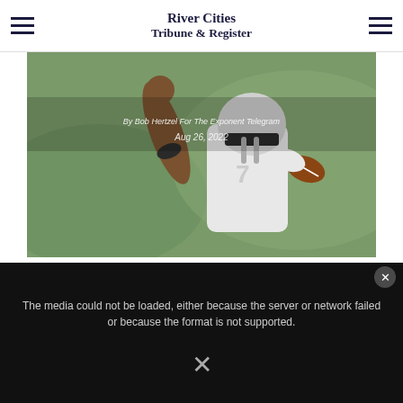River Cities Tribune & Register
[Figure (photo): Football players in action — one player in white uniform carrying ball, another player reaching to tackle. Blurred green background. Overlaid with byline 'By Bob Hertzel For The Exponent Telegram' and date 'Aug 26, 2022'.]
James, Smith hoping to celebrate many happy
This website uses cookies to enhance user experience and to analyze performance and traffic on our website.
The media could not be loaded, either because the server or network failed or because the format is not supported.